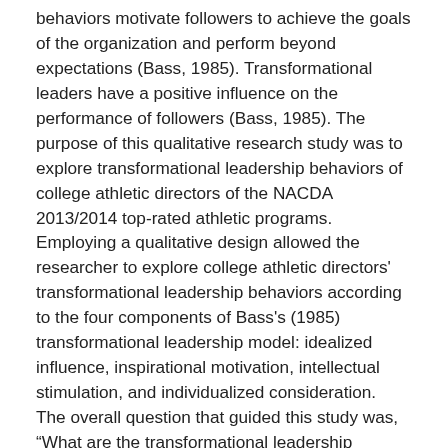behaviors motivate followers to achieve the goals of the organization and perform beyond expectations (Bass, 1985). Transformational leaders have a positive influence on the performance of followers (Bass, 1985). The purpose of this qualitative research study was to explore transformational leadership behaviors of college athletic directors of the NACDA 2013/2014 top-rated athletic programs. Employing a qualitative design allowed the researcher to explore college athletic directors' transformational leadership behaviors according to the four components of Bass's (1985) transformational leadership model: idealized influence, inspirational motivation, intellectual stimulation, and individualized consideration.
The overall question that guided this study was, “What are the transformational leadership behaviors of college athletic directors of the National Association of Collegiate Directors of Athletics 2013/2014 top-rated athletic programs?” This study has implications for leaders of college athletic programs concerning the performance outcome of winning athletic teams. Also, a study investigating the top-rated college athletic programs